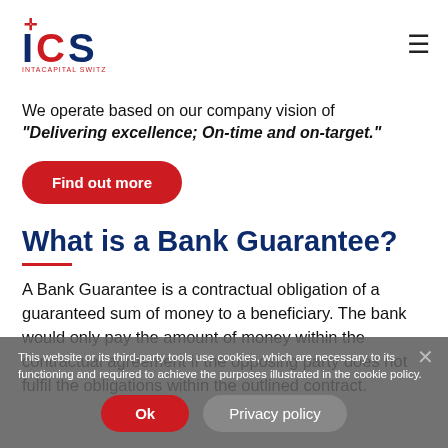[Figure (logo): ICS Intacapital Switzerland logo — stylized red and blue ICS letters with Swiss cross above the I]
We operate based on our company vision of "Delivering excellence; On-time and on-target."
Find out more
What is a Bank Guarantee?
A Bank Guarantee is a contractual obligation of a guaranteed sum of money to a beneficiary. The bank would only pay the amount of money within the contractual agreement if the opposing party does not fulfil the obligations within the outlined contract.
This website or its third-party tools use cookies, which are necessary to its functioning and required to achieve the purposes illustrated in the cookie policy.
Ok
Privacy policy